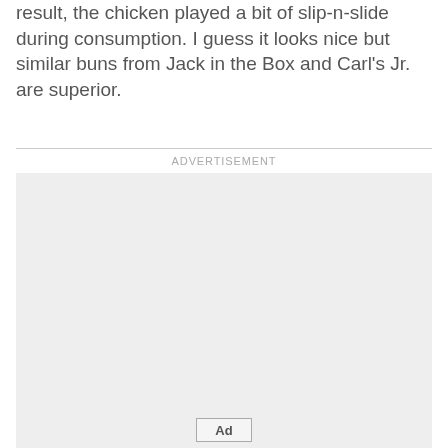result, the chicken played a bit of slip-n-slide during consumption. I guess it looks nice but similar buns from Jack in the Box and Carl's Jr. are superior.
[Figure (other): Advertisement placeholder box with 'Ad' button at bottom center]